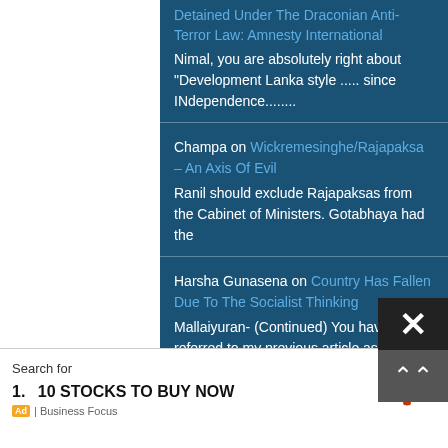Detained Under The Draconian Anti-Terror Law: Amnesty International
Nimal, you are absolutely right about "Development Lanka style ..... since INdependence........
Champa on Wickremesinghe/Rajapaksa – An Axis Of Evil
Ranil should exclude Rajapaksas from the Cabinet of Ministers. Gotabhaya had the
Harsha Gunasena on Country Has Fallen Due To The Socialist Thinking
Mallaiyuran- (Continued) You have referred to my previous article as well and
Harsha Gunasena on Country Has Fallen Due To The Socialist Thinking
Mallaiyuran- You have written 1318 word response to my 1680 word article
shankar on Reliance On Repression Will
Search for
1.  10 STOCKS TO BUY NOW
Ad | Business Focus